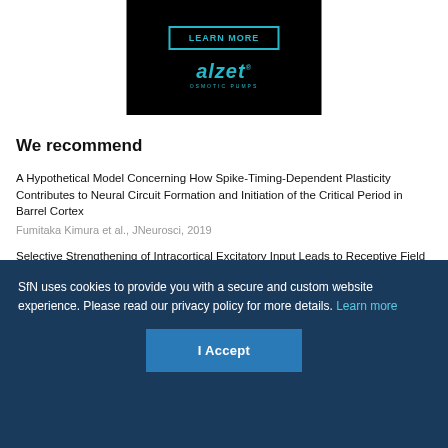[Figure (logo): Alzet Osmotic Pumps advertisement with 'LEARN MORE' button and alzet logo on black background]
We recommend
A Hypothetical Model Concerning How Spike-Timing-Dependent Plasticity Contributes to Neural Circuit Formation and Initiation of the Critical Period in Barrel Cortex
Fumitaka Kimura et al., JNeurosci, 2019
Selective Strengthening of Intracortical Excitatory Input Leads to Receptive Field Refinement during Auditory Cortical Development
Yujiao J. Sun et al., JNeurosci, 2019
SfN uses cookies to provide you with a secure and custom website experience. Please read our privacy policy for more details. Learn more
I Accept